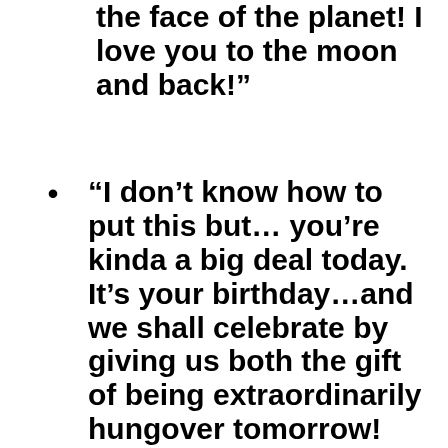the face of the planet! I love you to the moon and back!”
“I don’t know how to put this but… you’re kinda a big deal today. It’s your birthday…and we shall celebrate by giving us both the gift of being extraordinarily hungover tomorrow!